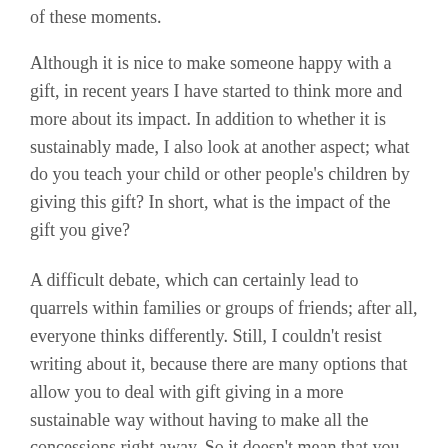of these moments.
Although it is nice to make someone happy with a gift, in recent years I have started to think more and more about its impact. In addition to whether it is sustainably made, I also look at another aspect; what do you teach your child or other people's children by giving this gift? In short, what is the impact of the gift you give?
A difficult debate, which can certainly lead to quarrels within families or groups of friends; after all, everyone thinks differently. Still, I couldn't resist writing about it, because there are many options that allow you to deal with gift giving in a more sustainable way without having to make all the concessions right away. So it doesn't mean that you can't give anything anymore (although it wouldn't be a bad idea to get a little less 'help' from all Santa's helpers), but these tips